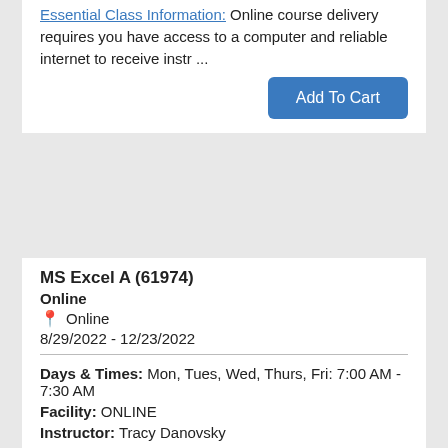Essential Class Information: Online course delivery requires you have access to a computer and reliable internet to receive instr ...
Add To Cart
MS Excel A (61974)
Online
Online
8/29/2022 - 12/23/2022
Days & Times: Mon, Tues, Wed, Thurs, Fri: 7:00 AM - 7:30 AM
Facility: ONLINE
Instructor: Tracy Danovsky
Tuition: $157.65
Status: Active
Seats Available: 20
Essential Class Information: Online course delivery requires you have access to a computer and reliable internet to receive instr ...